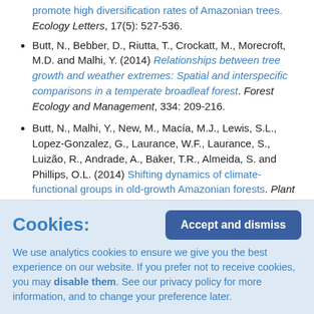promote high diversification rates of Amazonian trees. Ecology Letters, 17(5): 527-536.
Butt, N., Bebber, D., Riutta, T., Crockatt, M., Morecroft, M.D. and Malhi, Y. (2014) Relationships between tree growth and weather extremes: Spatial and interspecific comparisons in a temperate broadleaf forest. Forest Ecology and Management, 334: 209-216.
Butt, N., Malhi, Y., New, M., Macía, M.J., Lewis, S.L., Lopez-Gonzalez, G., Laurance, W.F., Laurance, S., Luizão, R., Andrade, A., Baker, T.R., Almeida, S. and Phillips, O.L. (2014) Shifting dynamics of climate-functional groups in old-growth Amazonian forests. Plant Ecology and Diversity, 7(1-2): 267-279. Special Issue: Ecosystem Dynamics of Amazonian and Andean Forests.
Clark, K.E., Torres, M.A., West, A.J., Hilton, R.G., New, M.,
Cookies: We use analytics cookies to ensure we give you the best experience on our website. If you prefer not to receive cookies, you may disable them. See our privacy policy for more information, and to change your preference later.